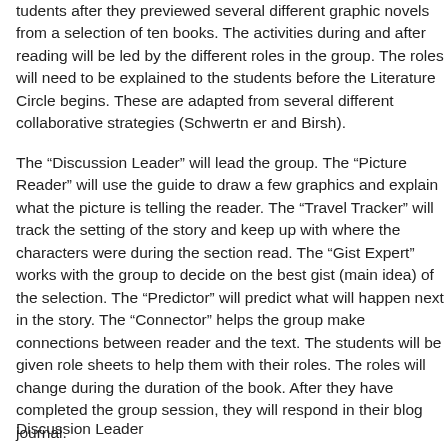tudents after they previewed several different graphic novels from a selection of ten books. The activities during and after reading will be led by the different roles in the group. The roles will need to be explained to the students before the Literature Circle begins. These are adapted from several different collaborative strategies (Schwertn er and Birsh).
The “Discussion Leader” will lead the group. The “Picture Reader” will use the guide to draw a few graphics and explain what the picture is telling the reader. The “Travel Tracker” will track the setting of the story and keep up with where the characters were during the section read. The “Gist Expert” works with the group to decide on the best gist (main idea) of the selection. The “Predictor” will predict what will happen next in the story. The “Connector” helps the group make connections between reader and the text. The students will be given role sheets to help them with their roles. The roles will change during the duration of the book. After they have completed the group session, they will respond in their blog journal.
Discussion Leader